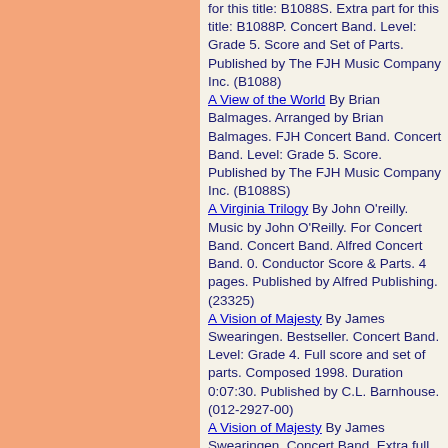for this title: B1088S. Extra part for this title: B1088P. Concert Band. Level: Grade 5. Score and Set of Parts. Published by The FJH Music Company Inc. (B1088)
A View of the World By Brian Balmages. Arranged by Brian Balmages. FJH Concert Band. Concert Band. Level: Grade 5. Score. Published by The FJH Music Company Inc. (B1088S)
A Virginia Trilogy By John O'reilly. Music by John O'Reilly. For Concert Band. Concert Band. Alfred Concert Band. 0. Conductor Score & Parts. 4 pages. Published by Alfred Publishing. (23325)
A Vision of Majesty By James Swearingen. Bestseller. Concert Band. Level: Grade 4. Full score and set of parts. Composed 1998. Duration 0:07:30. Published by C.L. Barnhouse. (012-2927-00)
A Vision of Majesty By James Swearingen. Concert Band. Extra full score. Composed 1998. Published by C.L. Barnhouse. (012-2927-01)
A Visit From Saint Nicholas By Len Orcino. Holiday. Young Concert Band. Command. Level: Grade 2.5.